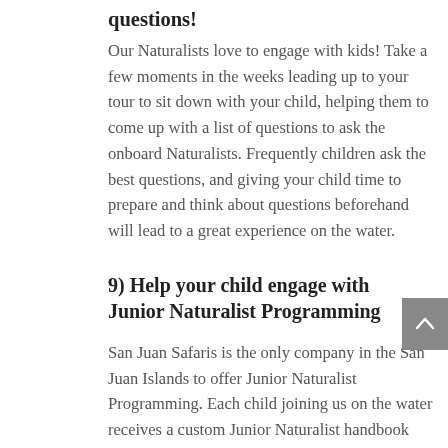questions!
Our Naturalists love to engage with kids! Take a few moments in the weeks leading up to your tour to sit down with your child, helping them to come up with a list of questions to ask the onboard Naturalists. Frequently children ask the best questions, and giving your child time to prepare and think about questions beforehand will lead to a great experience on the water.
9) Help your child engage with Junior Naturalist Programming
San Juan Safaris is the only company in the San Juan Islands to offer Junior Naturalist Programming. Each child joining us on the water receives a custom Junior Naturalist handbook with information and activities about the ocean, wildlife, and fun ways to contact the ocean. Your child might actually...